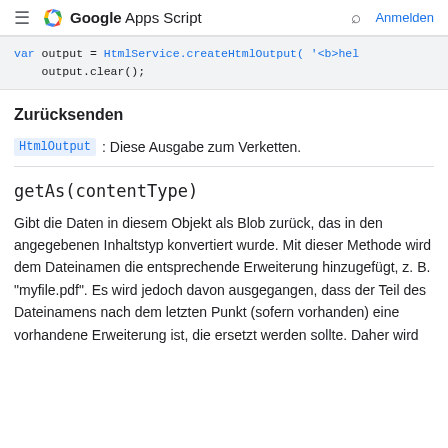≡ Google Apps Script  🔍  Anmelden
var output = HtmlService.createHtmlOutput( '<b>hel
    output.clear();
Zurücksenden
HtmlOutput : Diese Ausgabe zum Verketten.
getAs(contentType)
Gibt die Daten in diesem Objekt als Blob zurück, das in den angegebenen Inhaltstyp konvertiert wurde. Mit dieser Methode wird dem Dateinamen die entsprechende Erweiterung hinzugefügt, z. B. "myfile.pdf". Es wird jedoch davon ausgegangen, dass der Teil des Dateinamens nach dem letzten Punkt (sofern vorhanden) eine vorhandene Erweiterung ist, die ersetzt werden sollte. Daher wird